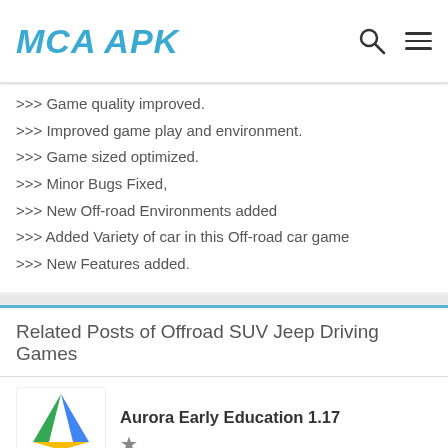MCA APK
>>> Game quality improved.
>>> Improved game play and environment.
>>> Game sized optimized.
>>> Minor Bugs Fixed,
>>> New Off-road Environments added
>>> Added Variety of car in this Off-road car game
>>> New Features added.
Related Posts of Offroad SUV Jeep Driving Games
Aurora Early Education 1.17
Zalando Privé - Ventes Privées